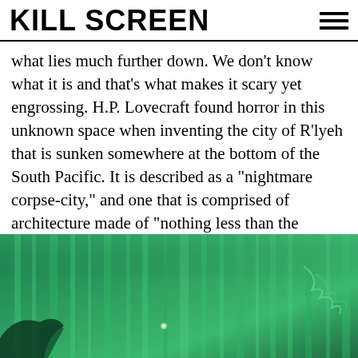KILL SCREEN
what lies much further down. We don’t know what it is and that’s what makes it scary yet engrossing. H.P. Lovecraft found horror in this unknown space when inventing the city of R’lyeh that is sunken somewhere at the bottom of the South Pacific. It is described as a “nightmare corpse-city,” and one that is comprised of architecture made of “nothing less than the tangible substance of earth’s supreme terror.” And, of course, it is where the mighty Cthulhu and his hordes are ensnared.
[Figure (photo): Underwater scene with green hues showing aquatic vegetation or kelp, with dark silhouette visible at bottom left.]